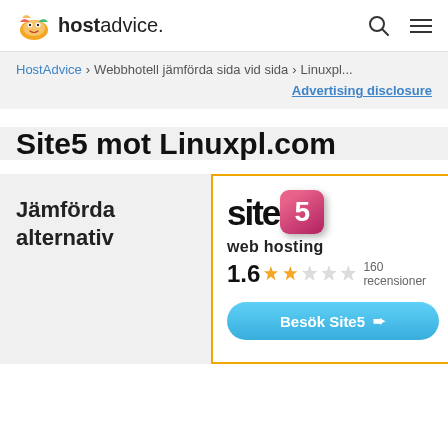hostadvice.
HostAdvice > Webbhotell jämförda sida vid sida > Linuxpl...
Advertising disclosure
Site5 mot Linuxpl.com
Jämförda alternativ
[Figure (logo): Site5 web hosting logo with pink/red badge showing number 5, rating 1.6 out of 5 stars, 160 recensioner, and a blue Visit button labeled Besök Site5]
1.6  160 recensioner
Besök Site5